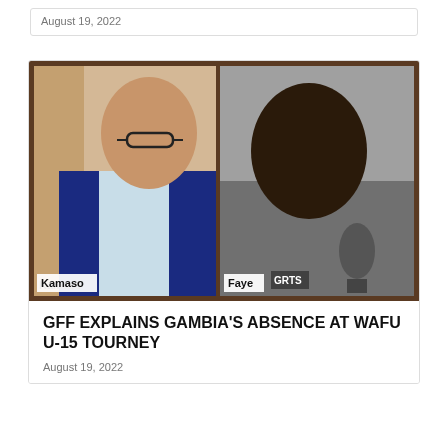August 19, 2022
[Figure (photo): Two men side by side: on the left, a bald man wearing glasses and a blue suit jacket (labeled Kamaso); on the right, a heavyset man holding a GRTS microphone (labeled Faye). The background of the composite image is dark brown.]
GFF EXPLAINS GAMBIA'S ABSENCE AT WAFU U-15 TOURNEY
August 19, 2022